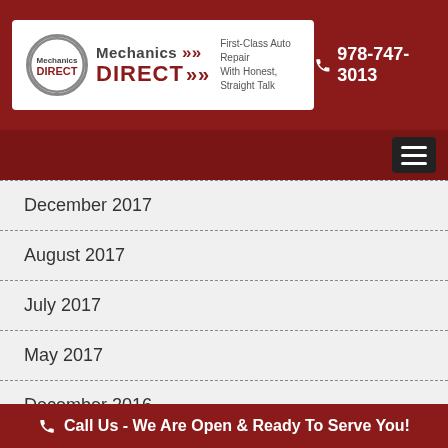[Figure (logo): Mechanics Direct logo with phone number 978-747-3013 in the header]
December 2017
August 2017
July 2017
May 2017
December 2016
November 2016
Call Us - We Are Open & Ready To Serve You!